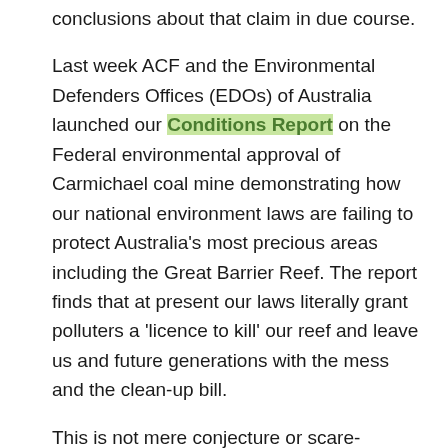conclusions about that claim in due course.
Last week ACF and the Environmental Defenders Offices (EDOs) of Australia launched our Conditions Report on the Federal environmental approval of Carmichael coal mine demonstrating how our national environment laws are failing to protect Australia's most precious areas including the Great Barrier Reef. The report finds that at present our laws literally grant polluters a 'licence to kill' our reef and leave us and future generations with the mess and the clean-up bill.
This is not mere conjecture or scare-mongering. Just this week following the accident in 2010 in which the Shen Neng 1 cargo ship ran aground 100km east